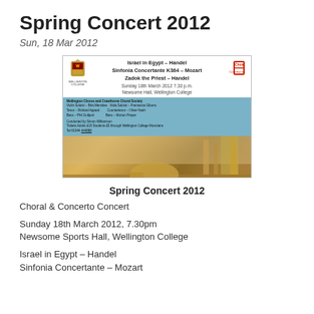Spring Concert 2012
Sun, 18 Mar 2012
[Figure (illustration): Concert poster for Spring Concert 2012 at Wellington College featuring Israel in Egypt – Handel, Sinfonia Concertante K364 – Mozart, Zadok the Priest – Handel, Sunday 18th March 2012 7.30 p.m., Newsome Hall, Wellington College. Wellington Chorus and Crawthorne Choral Society. Background shows a painted scene of ancient Egypt.]
Spring Concert 2012
Choral & Concerto Concert
Sunday 18th March 2012, 7.30pm
Newsome Sports Hall, Wellington College
Israel in Egypt – Handel
Sinfonia Concertante – Mozart